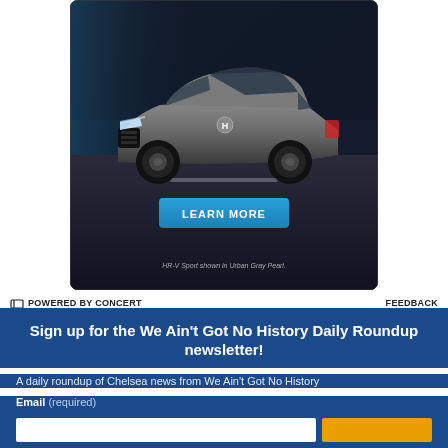[Figure (photo): Honda HR-V Sport in Urban Gray Pearl shown driving on a dark road at night, with blue ambient lighting. A 'LEARN MORE' button in blue is overlaid on the image. Caption reads: HR-V Sport shown in Urban Gray Pearl.]
POWERED BY CONCERT   FEEDBACK
Sign up for the We Ain't Got No History Daily Roundup newsletter!
A daily roundup of Chelsea news from We Ain't Got No History
Email (required)